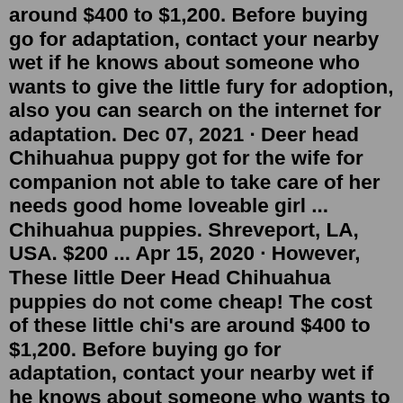around $400 to $1,200. Before buying go for adaptation, contact your nearby wet if he knows about someone who wants to give the little fury for adoption, also you can search on the internet for adaptation. Dec 07, 2021 · Deer head Chihuahua puppy got for the wife for companion not able to take care of her needs good home loveable girl ... Chihuahua puppies. Shreveport, LA, USA. $200 ... Apr 15, 2020 · However, These little Deer Head Chihuahua puppies do not come cheap! The cost of these little chi's are around $400 to $1,200. Before buying go for adaptation, contact your nearby wet if he knows about someone who wants to give the little fury for adoption, also you can search on the internet for adaptation. Applehead chihuahua BLUE ROSE $3,000 Featured Chihuahua Sassy $300 Featured Chihuahua Chihuahua in New Jersey $950 Featured Chihuahua Tux $300 Featured Chihuahua Chihuahua in South Jersey $1,400 Dogs & Puppies Chihuahua 2 sweet chihuahua pups Price On Call Dogs & Puppies Chihuahua Chipoo pups Price On Call Dogs &